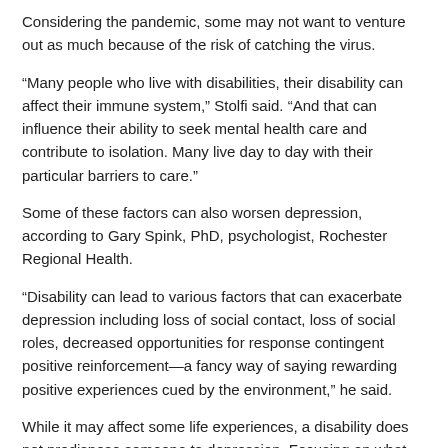Considering the pandemic, some may not want to venture out as much because of the risk of catching the virus.
“Many people who live with disabilities, their disability can affect their immune system,” Stolfi said. “And that can influence their ability to seek mental health care and contribute to isolation. Many live day to day with their particular barriers to care.”
Some of these factors can also worsen depression, according to Gary Spink, PhD, psychologist, Rochester Regional Health.
“Disability can lead to various factors that can exacerbate depression including loss of social contact, loss of social roles, decreased opportunities for response contingent positive reinforcement—a fancy way of saying rewarding positive experiences cued by the environment,” he said.
While it may affect some life experiences, a disability does not predispose someone to depression. Focusing on what one can do can help reduce risk of depression.
“One way to prevent or improve depression among those on disability